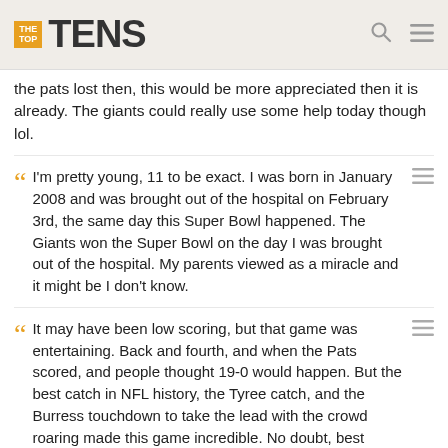THE TOP TENS
the pats lost then, this would be more appreciated then it is already. The giants could really use some help today though lol.
I'm pretty young, 11 to be exact. I was born in January 2008 and was brought out of the hospital on February 3rd, the same day this Super Bowl happened. The Giants won the Super Bowl on the day I was brought out of the hospital. My parents viewed as a miracle and it might be I don't know.
It may have been low scoring, but that game was entertaining. Back and fourth, and when the Pats scored, and people thought 19-0 would happen. But the best catch in NFL history, the Tyree catch, and the Burress touchdown to take the lead with the crowd roaring made this game incredible. No doubt, best super bowl of all time! - Buddyd123
The reason why the Giants won this super bowl isn't because of Eli Manning or helmet catch(that did help